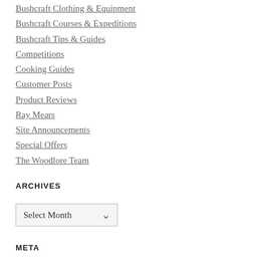Bushcraft Clothing & Equipment
Bushcraft Courses & Expeditions
Bushcraft Tips & Guides
Competitions
Cooking Guides
Customer Posts
Product Reviews
Ray Mears
Site Announcements
Special Offers
The Woodlore Team
ARCHIVES
Select Month
META